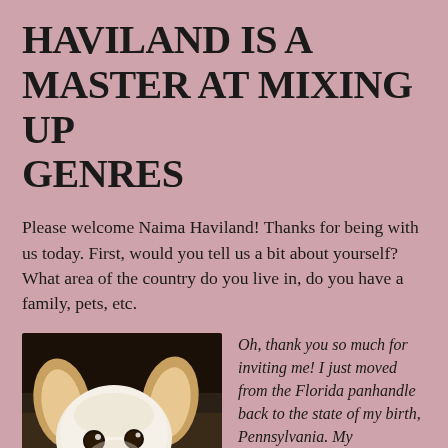HAVILAND IS A MASTER AT MIXING UP GENRES
Please welcome Naima Haviland! Thanks for being with us today. First, would you tell us a bit about yourself? What area of the country do you live in, do you have a family, pets, etc.
[Figure (photo): A close-up photo of a small dog, appears to be a Chihuahua mix, with white and tan coloring, looking directly at the camera. The dog is resting and appears to be holding a red toy.]
Oh, thank you so much for inviting me! I just moved from the Florida panhandle back to the state of my birth, Pennsylvania. My